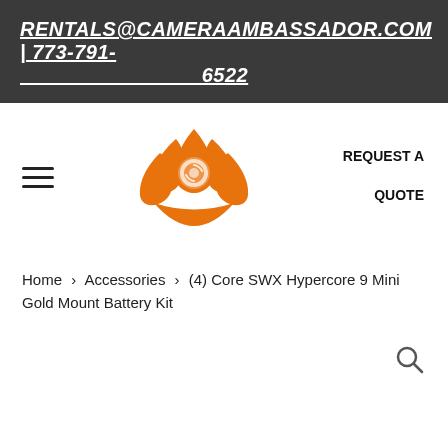RENTALS@CAMERAAMBASSADOR.COM | 773-791-6522
[Figure (logo): Camera Ambassador orange lotus flower logo with camera lens eye in the center]
REQUEST A QUOTE
Home > Accessories > (4) Core SWX Hypercore 9 Mini Gold Mount Battery Kit